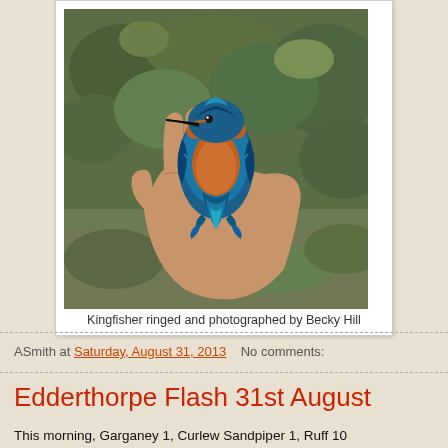[Figure (photo): A kingfisher bird being held in a person's hand, showing vivid blue and orange plumage, with green foliage in the background.]
Kingfisher ringed and photographed by Becky Hill
ASmith at Saturday, August 31, 2013    No comments:
Edderthorpe Flash 31st August
This morning, Garganey 1, Curlew Sandpiper 1, Ruff 10